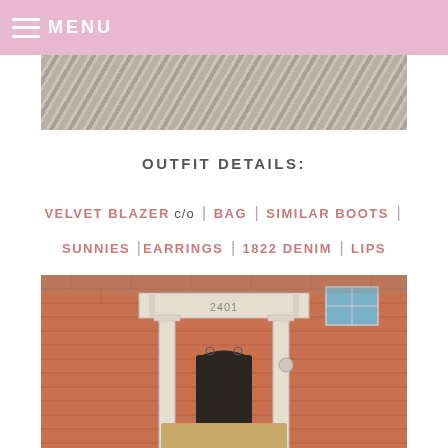≡ MENU
[Figure (photo): Top portion of an outdoor photo showing a textured stone or concrete surface]
OUTFIT DETAILS:
VELVET BLAZER c/o | BAG | SIMILAR BOOTS | SUNNIES |EARRINGS | 1822 DENIM | LIPS
[Figure (photo): Photo of a brick building entrance with white classical columns, a pediment with the address 2401, a dark arched doorway, and a partial view of a person in the foreground]